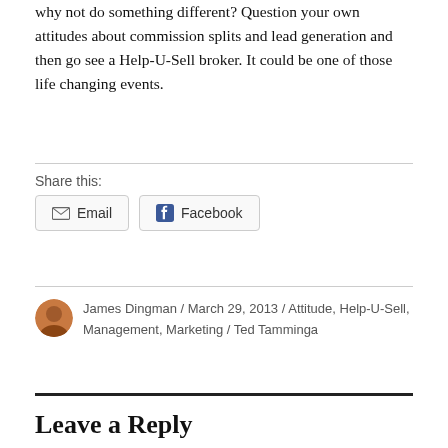why not do something different? Question your own attitudes about commission splits and lead generation and then go see a Help-U-Sell broker. It could be one of those life changing events.
Share this:
Email  Facebook
James Dingman / March 29, 2013 / Attitude, Help-U-Sell, Management, Marketing / Ted Tamminga
Leave a Reply